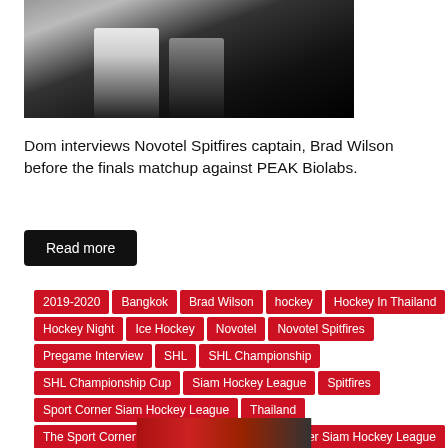[Figure (photo): Photo of people, partially visible at top of page with dark background]
Dom interviews Novotel Spitfires captain, Brad Wilson before the finals matchup against PEAK Biolabs.
Read more
2019-2020
Bangkok
Brad Wilson
hockey
Hockey In Thailand
Hockey Night
Ice Hockey
Novotel
Novotel Spitfires
Pregame Interview
SHL
SHL Championship
SHL Championship Cup
Siam Hockey League
Spitfires
Sport Corner Siam Hockey League
Thailand
The Sport Corner Playoff MVP
The Sport Corner Siam Hockey League
The Sport Corner Siam Hockey Leauge
[Figure (photo): Partial photo visible at bottom of page]